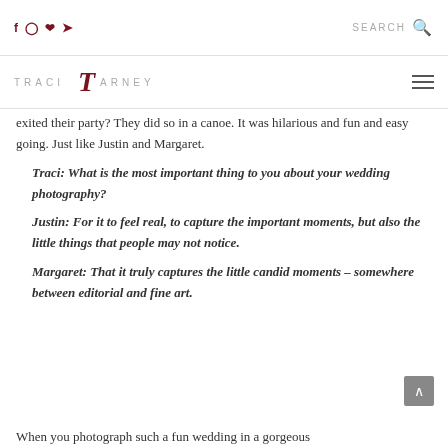TRACI TARNEY — social icons, search bar
exited their party? They did so in a canoe. It was hilarious and fun and easy going. Just like Justin and Margaret.
Traci: What is the most important thing to you about your wedding photography?
Justin: For it to feel real, to capture the important moments, but also the little things that people may not notice.
Margaret: That it truly captures the little candid moments – somewhere between editorial and fine art.
When you photograph such a fun wedding in a gorgeous...